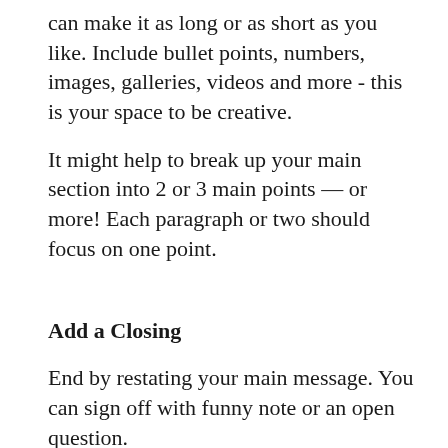can make it as long or as short as you like. Include bullet points, numbers, images, galleries, videos and more - this is your space to be creative.
It might help to break up your main section into 2 or 3 main points — or more! Each paragraph or two should focus on one point.
Add a Closing
End by restating your main message. You can sign off with funny note or an open question.
Use this space to tell readers what they